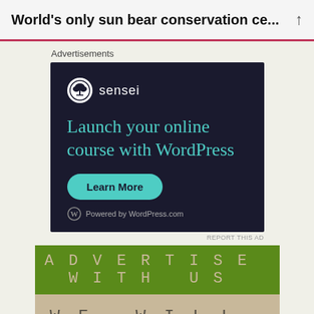World's only sun bear conservation ce...
Advertisements
[Figure (screenshot): Sensei advertisement: dark navy background with Sensei logo and bonsai tree icon, headline 'Launch your online course with WordPress' in teal, a teal 'Learn More' button, and 'Powered by WordPress.com' footer]
REPORT THIS AD
[Figure (infographic): Advertise With Us banner: tan/craft paper background with green banner showing 'ADVERTISE WITH US' in monospace text, and below 'WE WILL HELP YOU' in large spaced monospace text]